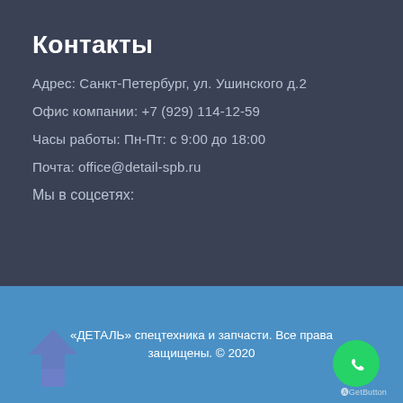Контакты
Адрес: Санкт-Петербург, ул. Ушинского д.2
Офис компании: +7 (929) 114-12-59
Часы работы: Пн-Пт: с 9:00 до 18:00
Почта: office@detail-spb.ru
Мы в соцсетях:
«ДЕТАЛЬ» спецтехника и запчасти. Все права защищены. © 2020